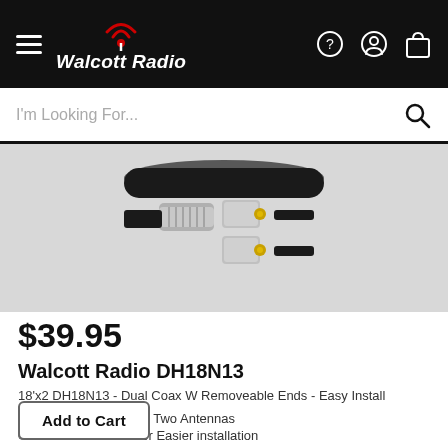Walcott Radio
[Figure (photo): Close-up photo of coaxial cable connectors — silver PL-259 type connectors with gold center pins, against a dark coiled cable background]
$39.95
Walcott Radio DH18N13
18'x2 DH18N13 - Dual Coax W Removeable Ends - Easy Install
Co-Phase Coax For Two Antennas
Removable Ends for Easier installation
Add to Cart